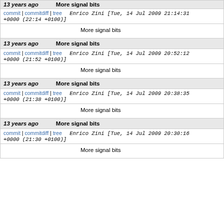| age | subject |
| --- | --- |
| 13 years ago | More signal bits |
| commit | commitdiff | tree  Enrico Zini [Tue, 14 Jul 2009 21:14:31 +0000 (22:14 +0100)] |  |
| More signal bits |  |
| 13 years ago | More signal bits |
| commit | commitdiff | tree  Enrico Zini [Tue, 14 Jul 2009 20:52:12 +0000 (21:52 +0100)] |  |
| More signal bits |  |
| 13 years ago | More signal bits |
| commit | commitdiff | tree  Enrico Zini [Tue, 14 Jul 2009 20:38:35 +0000 (21:38 +0100)] |  |
| More signal bits |  |
| 13 years ago | More signal bits |
| commit | commitdiff | tree  Enrico Zini [Tue, 14 Jul 2009 20:30:16 +0000 (21:30 +0100)] |  |
| More signal bits |  |